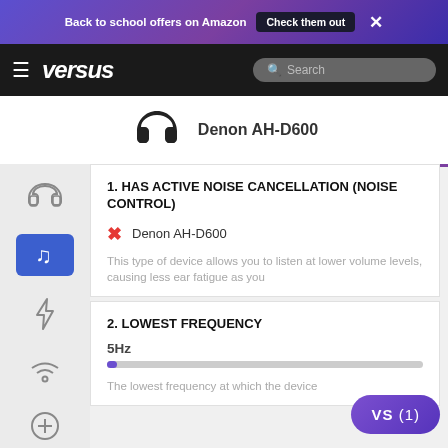Back to school offers on Amazon  Check them out  ✕
[Figure (screenshot): Versus website navigation bar with hamburger menu, versus logo, and search box]
[Figure (photo): Denon AH-D600 headphones product image]
Denon AH-D600
1. HAS ACTIVE NOISE CANCELLATION (NOISE CONTROL)
✗  Denon AH-D600
This type of device allows you to listen at lower volume levels, causing less ear fatigue as you
2. LOWEST FREQUENCY
5Hz
The lowest frequency at which the device